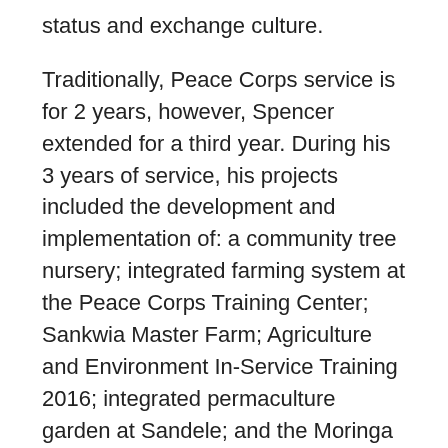status and exchange culture.
Traditionally, Peace Corps service is for 2 years, however, Spencer extended for a third year. During his 3 years of service, his projects included the development and implementation of: a community tree nursery; integrated farming system at the Peace Corps Training Center; Sankwia Master Farm; Agriculture and Environment In-Service Training 2016; integrated permaculture garden at Sandele; and the Moringa Seed Bank.
Spencer took the initiative to learn about sustainable agriculture; speaking often with knowledgeable staff members and volunteers and reading about the various approaches to sustainable farming. While agriculture and the healthcare field may seem unrelated to some, as